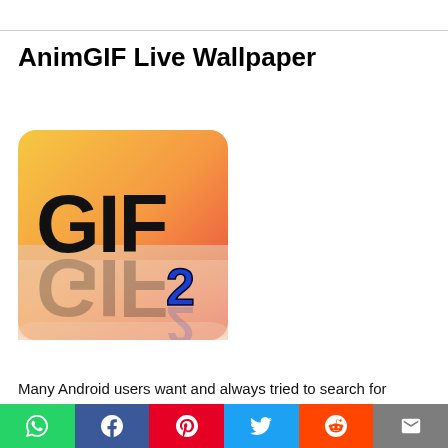AnimGIF Live Wallpaper
[Figure (illustration): AnimGIF Live Wallpaper 2 app icon — orange-to-red gradient background with large bold black 3D text 'GIF' and a blue '2' superscript, reflected below on a glossy surface]
Many Android users want and always tried to search for